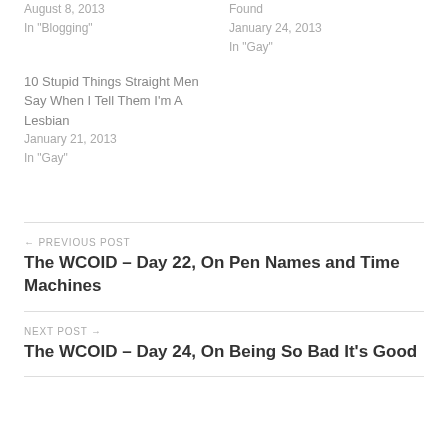August 8, 2013
In "Blogging"
January 24, 2013
In "Gay"
10 Stupid Things Straight Men Say When I Tell Them I'm A Lesbian
January 21, 2013
In "Gay"
← PREVIOUS POST
The WCOID – Day 22, On Pen Names and Time Machines
NEXT POST →
The WCOID – Day 24, On Being So Bad It's Good